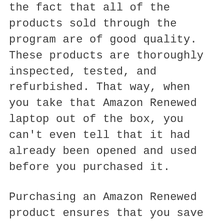the fact that all of the products sold through the program are of good quality. These products are thoroughly inspected, tested, and refurbished. That way, when you take that Amazon Renewed laptop out of the box, you can't even tell that it had already been opened and used before you purchased it.
Purchasing an Amazon Renewed product ensures that you save plenty of money, and that you get a product that works just as it did when it was new. Those are the two major benefits that purchasing through the Amazon Renewed program gives you.
What Kinds Of Products Can